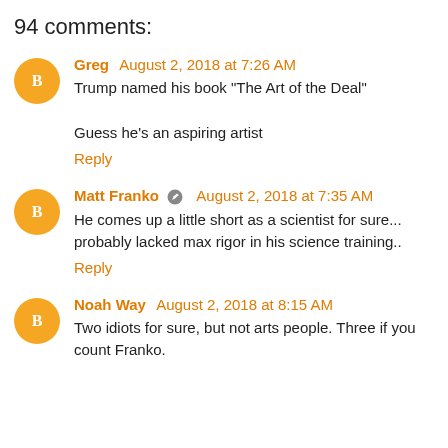94 comments:
Greg August 2, 2018 at 7:26 AM
Trump named his book "The Art of the Deal"

Guess he's an aspiring artist
Reply
Matt Franko August 2, 2018 at 7:35 AM
He comes up a little short as a scientist for sure... probably lacked max rigor in his science training..
Reply
Noah Way August 2, 2018 at 8:15 AM
Two idiots for sure, but not arts people. Three if you count Franko.